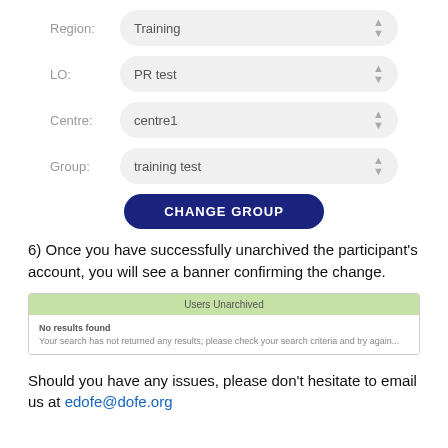[Figure (screenshot): Form UI showing Region field with 'Training' selected, LO field with 'PR test' selected, Centre field with 'centre1' selected, Group field with 'training test' selected, and a dark blue 'CHANGE GROUP' button.]
6) Once you have successfully unarchived the participant's account, you will see a banner confirming the change.
[Figure (screenshot): Screenshot showing a green banner reading 'Users Unarchived', with a white area below showing 'No results found' and 'Your search has not returned any results; please check your search criteria and try again...']
Should you have any issues, please don't hesitate to email us at edofe@dofe.org